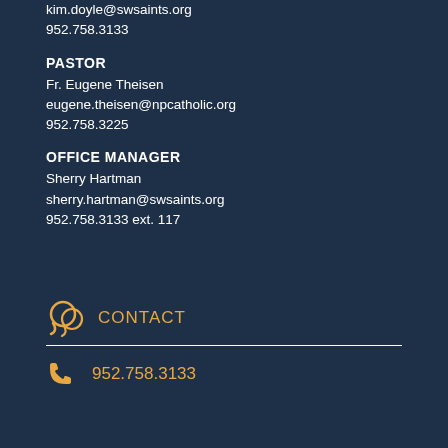kim.doyle@swsaints.org
952.758.3133
PASTOR
Fr. Eugene Theisen
eugene.theisen@npcatholic.org
952.758.3225
OFFICE MANAGER
Sherry Hartman
sherry.hartman@swsaints.org
952.758.3133 ext. 117
CONTACT
952.758.3133